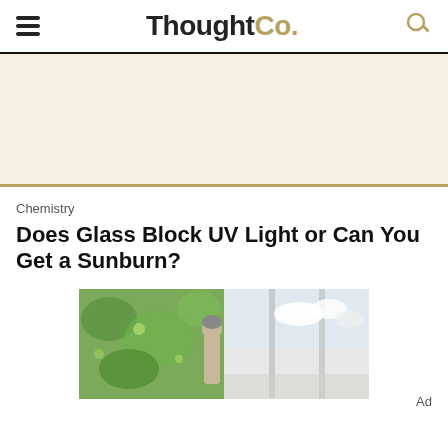ThoughtCo.
[Figure (other): Advertisement banner area with light cream/tan background]
Chemistry
Does Glass Block UV Light or Can You Get a Sunburn?
[Figure (photo): A person standing near large glass windows/doors, with green foliage visible on one half and bright sky on the other half, suggesting the contrast of UV light through glass.]